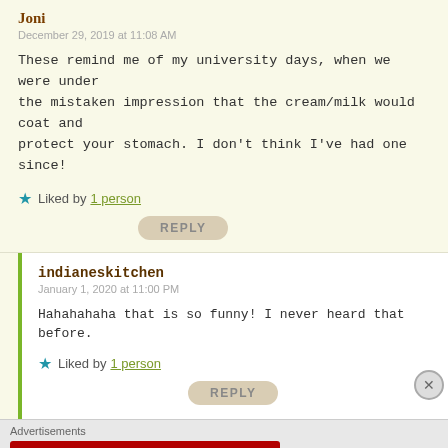Joni
December 29, 2019 at 11:08 AM
These remind me of my university days, when we were under the mistaken impression that the cream/milk would coat and protect your stomach. I don't think I've had one since!
Liked by 1 person
REPLY
indianeskitchen
January 1, 2020 at 11:00 PM
Hahahahaha that is so funny! I never heard that before.
Liked by 1 person
REPLY
Advertisements
[Figure (other): Macy's advertisement banner: KISS BORING LIPS GOODBYE with SHOP NOW button and macy's star logo on red background]